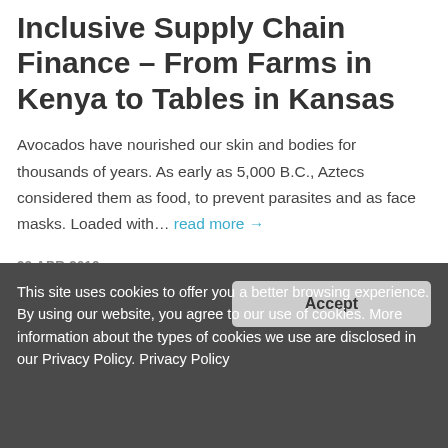Inclusive Supply Chain Finance – From Farms in Kenya to Tables in Kansas
Avocados have nourished our skin and bodies for thousands of years. As early as 5,000 B.C., Aztecs considered them as food, to prevent parasites and as face masks. Loaded with… read more →
29 APR 2019
This site uses cookies to offer you a better browsing experience. By using our website, you agree to our use of cookies. More information about the types of cookies we use are disclosed in our Privacy Policy. Privacy Policy